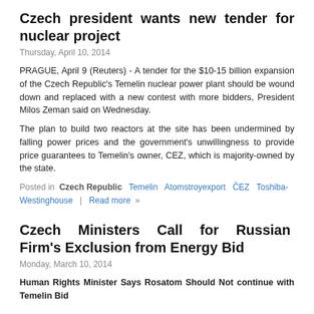Czech president wants new tender for nuclear project
Thursday, April 10, 2014
PRAGUE, April 9 (Reuters) - A tender for the $10-15 billion expansion of the Czech Republic's Temelin nuclear power plant should be wound down and replaced with a new contest with more bidders, President Milos Zeman said on Wednesday.
The plan to build two reactors at the site has been undermined by falling power prices and the government's unwillingness to provide price guarantees to Temelin's owner, CEZ, which is majority-owned by the state.
Posted in  Czech Republic  Temelin  Atomstroyexport  ČEZ  Toshiba-Westinghouse  |  Read more  »
Czech Ministers Call for Russian Firm's Exclusion from Energy Bid
Monday, March 10, 2014
Human Rights Minister Says Rosatom Should Not continue with Temelin Bid